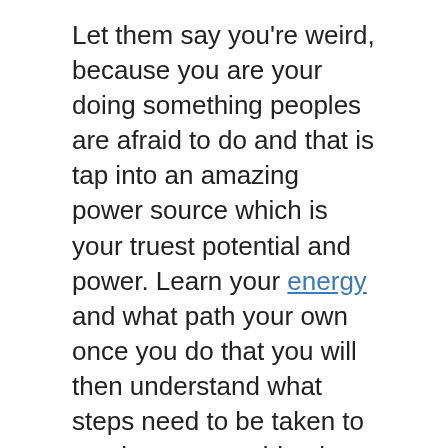Let them say you're weird, because you are your doing something peoples are afraid to do and that is tap into an amazing power source which is your truest potential and power. Learn your energy and what path your own once you do that you will then understand what steps need to be taken to continue your spiritual journey. Once you you're on the right path you will find solutions, people, and the support group you need that fit your needs and that will help you achieve your goals in life.
When most people become spiritually awake they start to question whether the path that there on I n life is the right one. Believe me